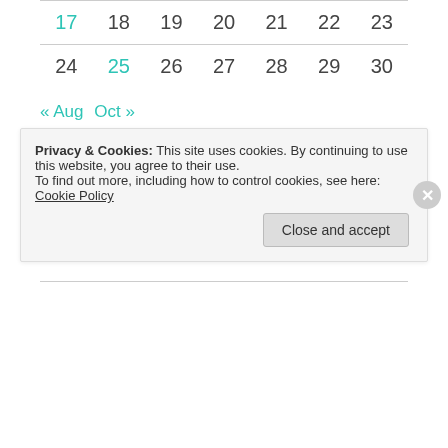| 17 | 18 | 19 | 20 | 21 | 22 | 23 |
| 24 | 25 | 26 | 27 | 28 | 29 | 30 |
« Aug  Oct »
LOOKING FOR A PARTICULAR POST? SEARCH HERE!
Search ...
Privacy & Cookies: This site uses cookies. By continuing to use this website, you agree to their use.
To find out more, including how to control cookies, see here: Cookie Policy
Close and accept